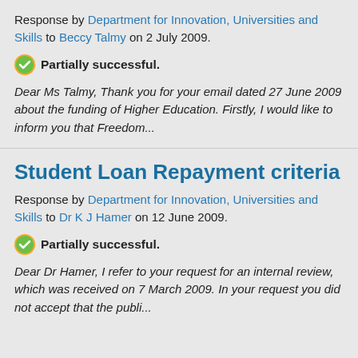Response by Department for Innovation, Universities and Skills to Beccy Talmy on 2 July 2009.
Partially successful.
Dear Ms Talmy, Thank you for your email dated 27 June 2009 about the funding of Higher Education. Firstly, I would like to inform you that Freedom...
Student Loan Repayment criteria
Response by Department for Innovation, Universities and Skills to Dr K J Hamer on 12 June 2009.
Partially successful.
Dear Dr Hamer, I refer to your request for an internal review, which was received on 7 March 2009. In your request you did not accept that the publi...